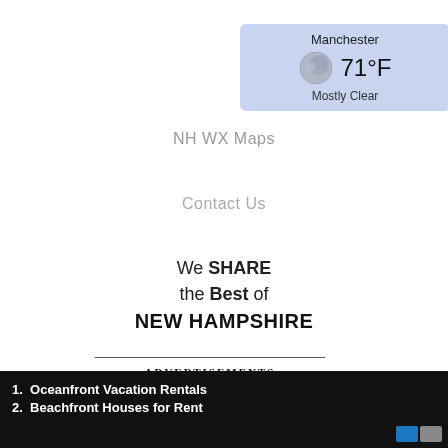[Figure (infographic): Weather widget showing Manchester, 71°F, Mostly Clear with moon icon on light blue background]
NH WX Maps
Contact Us
We SHARE the Best of NEW HAMPSHIRE
ADVERTISEMENTS
[Figure (screenshot): FREEWORLDMALL advertisement banner with dark background and white bold text]
1. Oceanfront Vacation Rentals
2. Beachfront Houses for Rent